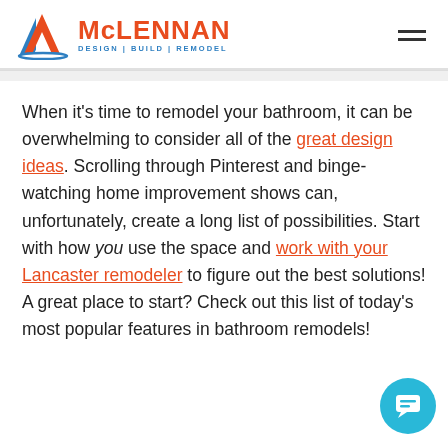McLennan Design | Build | Remodel
When it's time to remodel your bathroom, it can be overwhelming to consider all of the great design ideas. Scrolling through Pinterest and binge-watching home improvement shows can, unfortunately, create a long list of possibilities. Start with how you use the space and work with your Lancaster remodeler to figure out the best solutions! A great place to start? Check out this list of today's most popular features in bathroom remodels!